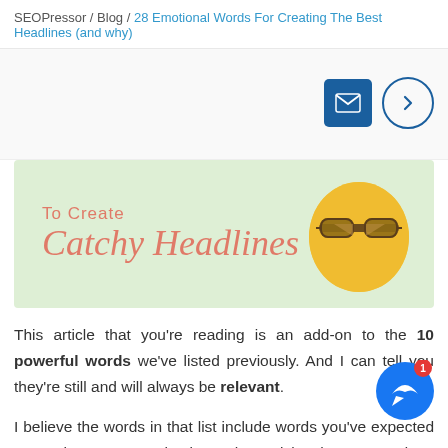SEOPressor / Blog / 28 Emotional Words For Creating The Best Headlines (and why)
[Figure (infographic): Infographic banner with light green background showing text 'To Create Catchy Headlines' in coral/salmon script font, with a yellow circle containing illustrated sunglasses on the right side]
This article that you're reading is an add-on to the 10 powerful words we've listed previously. And I can tell you they're still and will always be relevant.
I believe the words in that list include words you've expected to see here. So, go check out that article when you're done with this one.
Before you go, here are two headline tips that will